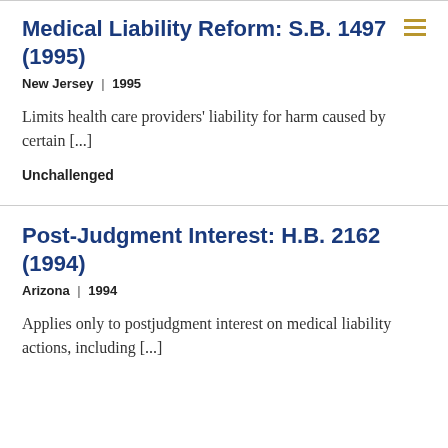Medical Liability Reform: S.B. 1497 (1995)
New Jersey  |  1995
Limits health care providers' liability for harm caused by certain [...]
Unchallenged
Post-Judgment Interest: H.B. 2162 (1994)
Arizona  |  1994
Applies only to postjudgment interest on medical liability actions, including [...]